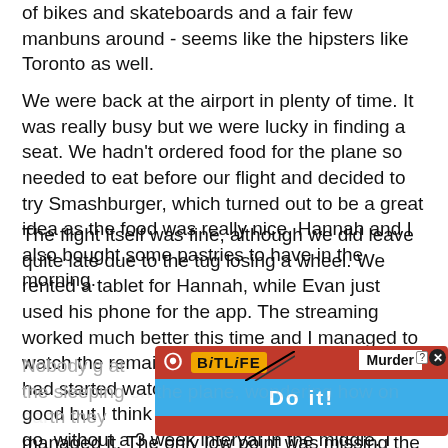of bikes and skateboards and a fair few manbuns around - seems like the hipsters like Toronto as well.
We were back at the airport in plenty of time. It was really busy but we were lucky in finding a seat. We hadn't ordered food for the plane so needed to eat before our flight and decided to try Smashburger, which turned out to be a great idea as the food was really nice. Hannah and I also bought some pastries to have in the morning.
The flight itself was fine, although we did leave quite late due to the tug losing a wheel. We rented a tablet for Hannah, while Evan just used his phone for the app. The streaming worked much better this time and I managed to watch the remaining 20 minutes of Lion which I had started watching on the flight out. It was good but I think it is better watched all in one go, without a 3 week interval in the middle. I suspect most films are!
[Figure (other): BitLife mobile game advertisement with red background, orange BitLife logo, 'Murder Do it!' call to action button in blue]
Nobody ... looking at the sleeping ... th they managed it. The only low point was missing the morning drinks service due to turbulence over Gatwick. That would